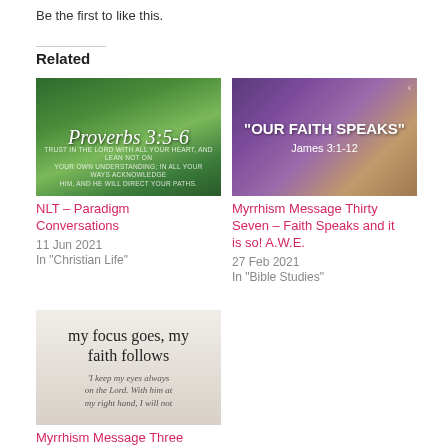Be the first to like this.
Related
[Figure (illustration): Green forest path image with Proverbs 3:5-6 text overlay]
NLT – Paradigm Conversations
11 Jun 2021
In "Christian Life"
[Figure (illustration): Purple gradient background with 'OUR FAITH SPEAKS' James 3:1-12 text]
Myrrhism Message Thirty Seven – Faith Speaks and it is so! A.W.E.
27 Feb 2021
In "Bible Studies"
[Figure (illustration): Light background image with text: my focus goes, my faith follows. 'I keep my eyes always on the Lord. With him at my right hand, I will not']
Myrrhism Message Three